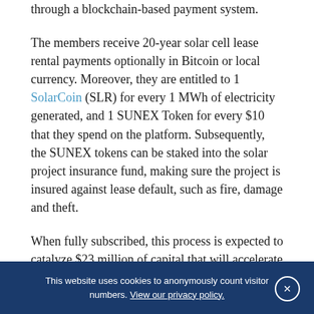through a blockchain-based payment system.
The members receive 20-year solar cell lease rental payments optionally in Bitcoin or local currency. Moreover, they are entitled to 1 SolarCoin (SLR) for every 1 MWh of electricity generated, and 1 SUNEX Token for every $10 that they spend on the platform. Subsequently, the SUNEX tokens can be staked into the solar project insurance fund, making sure the project is insured against lease default, such as fire, damage and theft.
When fully subscribed, this process is expected to catalyze $23 million of capital that will accelerate Powerhive's solar powered mini-grid roll out, by funding approximately 150...
This website uses cookies to anonymously count visitor numbers. View our privacy policy. ×